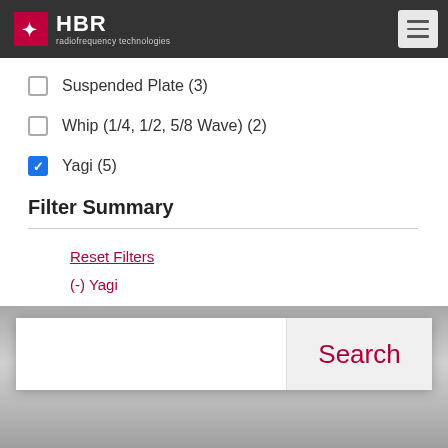HBR radiofrequency technologies
Suspended Plate (3)
Whip (1/4, 1/2, 5/8 Wave) (2)
Yagi (5)
Filter Summary
Reset Filters
(-) Yagi
[Figure (screenshot): Search bar with text input field and Search button]